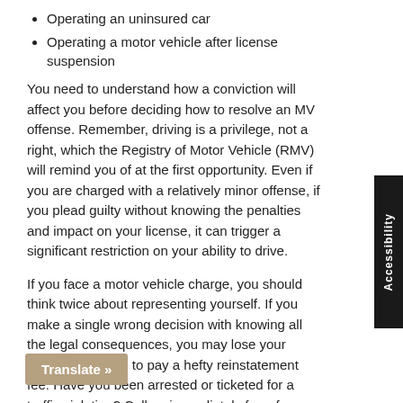Operating an uninsured car
Operating a motor vehicle after license suspension
You need to understand how a conviction will affect you before deciding how to resolve an MV offense. Remember, driving is a privilege, not a right, which the Registry of Motor Vehicle (RMV) will remind you of at the first opportunity. Even if you are charged with a relatively minor offense, if you plead guilty without knowing the penalties and impact on your license, it can trigger a significant restriction on your ability to drive.
If you face a motor vehicle charge, you should think twice about representing yourself. If you make a single wrong decision without knowing all the legal consequences, you may lose your license and have to pay a hefty reinstatement fee. Have you been arrested or ticketed for a traffic violation? Call us immediately for a free phone consultation.
Impact of a Motor Vehicle Crime
What Penalties I'm Likely to Face?